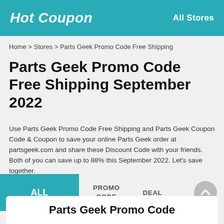Hot Coupon   All Stores
Home > Stores > Parts Geek Promo Code Free Shipping
Parts Geek Promo Code Free Shipping September 2022
Use Parts Geek Promo Code Free Shipping and Parts Geek Coupon Code & Coupon to save your online Parts Geek order at partsgeek.com and share these Discount Code with your friends. Both of you can save up to 88% this September 2022. Let's save together.
ALL   PROMO CODE   DEAL
Parts Geek Promo Code